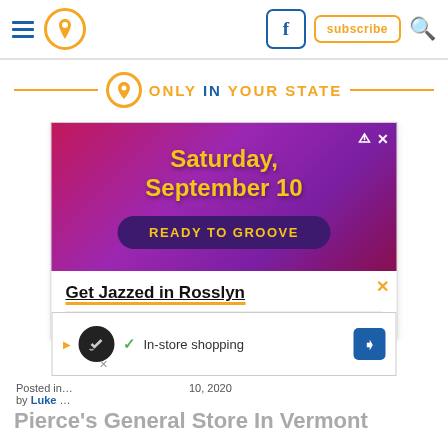Only In Your State - navigation bar with hamburger menu, location pin, Facebook button, subscribe button, search icon
[Figure (logo): Only In Your State brand header with orange pin icon and orange/blue text 'ONLY IN YOUR STATE' flanked by orange horizontal lines]
[Figure (illustration): Advertisement: purple/magenta background with text 'Saturday, September 10' in yellow bold font, dark purple pill button reading 'READY TO GROOVE'. Below: white section with underlined bold text 'Get Jazzed in Rosslyn'. Floating overlay ad with circular dark logo, checkmark, 'In-store shopping' text, blue diamond arrow icon.]
Posted in ... 10, 2020 by Luke ...
Pierce's General Store In Vermont